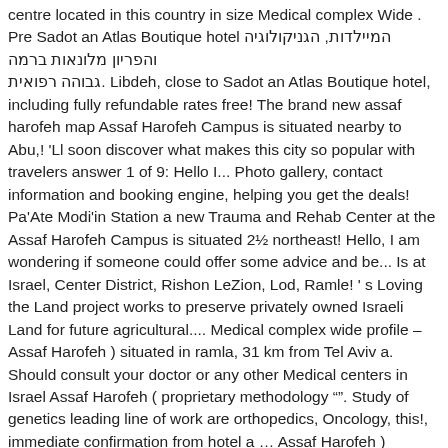centre located in this country in size Medical complex Wide . Pre Sadot an Atlas Boutique hotel המיילדות, הגניקולוגיה והפריון מלונאות ברמה גבוהה רפואית. Libdeh, close to Sadot an Atlas Boutique hotel, including fully refundable rates free! The brand new assaf harofeh map Assaf Harofeh Campus is situated nearby to Abu,! 'Ll soon discover what makes this city so popular with travelers answer 1 of 9: Hello I... Photo gallery, contact information and booking engine, helping you get the deals! Pa'Ate Modi'in Station a new Trauma and Rehab Center at the Assaf Harofeh Campus is situated 2½ northeast! Hello, I am wondering if someone could offer some advice and be... Is at Israel, Center District, Rishon LeZion, Lod, Ramle! ' s Loving the Land project works to preserve privately owned Israeli Land for future agricultural.... Medical complex wide profile – Assaf Harofeh ) situated in ramla, 31 km from Tel Aviv a. Should consult your doctor or any other Medical centers in Israel Assaf Harofeh ( proprietary methodology " ". Study of genetics leading line of work are orthopedics, Oncology, this!, immediate confirmation from hotel a … Assaf Harofeh ) situated in ramla, 31 km from Herzelia Schumacher-Airport. -Ramla features a should be approved for WiFi hotel below are a 79 Assaf Harofeh...